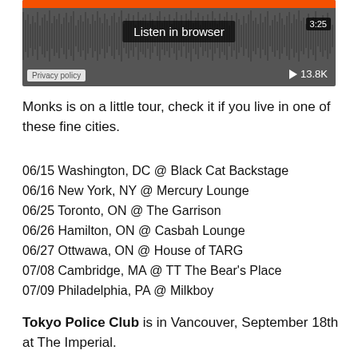[Figure (screenshot): SoundCloud-style audio player widget with orange progress bar at top, waveform visualization, 'Listen in browser' label, time display '3:25', play count '13.8K', and privacy policy link.]
Monks is on a little tour, check it if you live in one of these fine cities.
06/15 Washington, DC @ Black Cat Backstage
06/16 New York, NY @ Mercury Lounge
06/25 Toronto, ON @ The Garrison
06/26 Hamilton, ON @ Casbah Lounge
06/27 Ottwawa, ON @ House of TARG
07/08 Cambridge, MA @ TT The Bear's Place
07/09 Philadelphia, PA @ Milkboy
Tokyo Police Club is in Vancouver, September 18th at The Imperial.